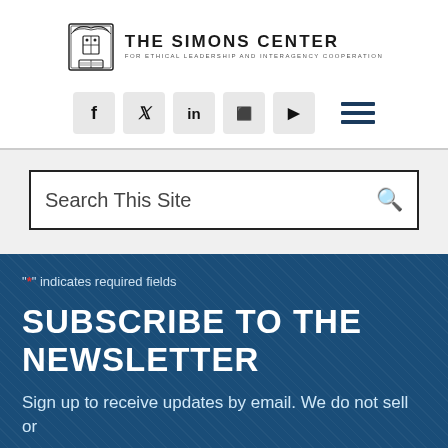[Figure (logo): The Simons Center for Ethical Leadership and Interagency Cooperation logo with crest and text]
[Figure (other): Social media icon buttons: Facebook, Twitter, LinkedIn, Flickr, YouTube, and hamburger menu icon]
Search This Site
"*" indicates required fields
SUBSCRIBE TO THE NEWSLETTER
Sign up to receive updates by email. We do not sell or share your information.